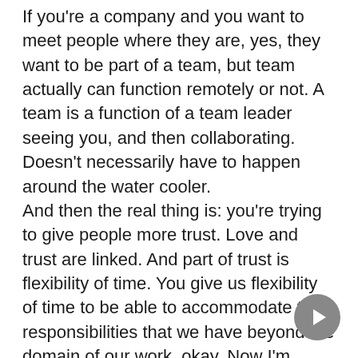If you're a company and you want to meet people where they are, yes, they want to be part of a team, but team actually can function remotely or not. A team is a function of a team leader seeing you, and then collaborating. Doesn't necessarily have to happen around the water cooler. And then the real thing is: you're trying to give people more trust. Love and trust are linked. And part of trust is flexibility of time. You give us flexibility of time to be able to accommodate the responsibilities that we have beyond the domain of our work, okay. Now I'm seeing you as a whole human, you're not head count. You're a human and I've seen you've got a dog and you've got a gerbil and then you got a kid and apparently you